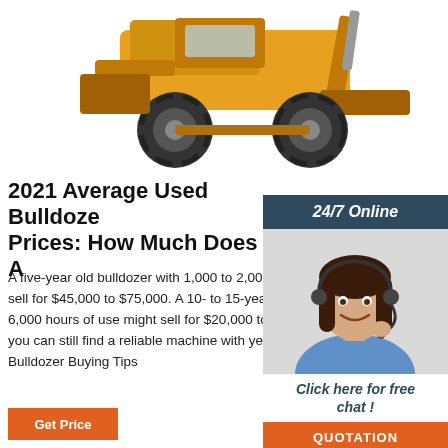[Figure (photo): Yellow bulldozer / wheel loader photographed from the front-side, large tires visible, orange/yellow body against white background]
2021 Average Used Bulldozer Prices: How Much Does A
[Figure (photo): 24/7 Online chat widget showing a smiling female customer service representative wearing a headset, with a dark blue header reading '24/7 Online', a 'Click here for free chat!' prompt, and an orange 'QUOTATION' button]
A five-year old bulldozer with 1,000 to 2,000 hours of use would likely sell for $45,000 to $75,000. A 10- to 15-year old machine with 4,000 to 6,000 hours of use might sell for $20,000 to $40,000. In this category, you can still find a reliable machine with years of useful life ahead. Used Bulldozer Buying Tips